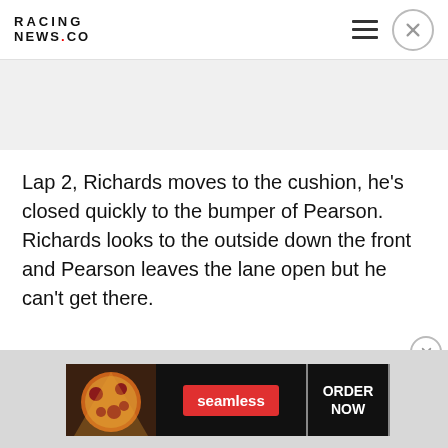RACING NEWS.CO
Lap 2, Richards moves to the cushion, he’s closed quickly to the bumper of Pearson. Richards looks to the outside down the front and Pearson leaves the lane open but he can’t get there.
[Figure (infographic): Seamless food ordering advertisement banner with pizza image, Seamless logo in red pill, and ORDER NOW button]